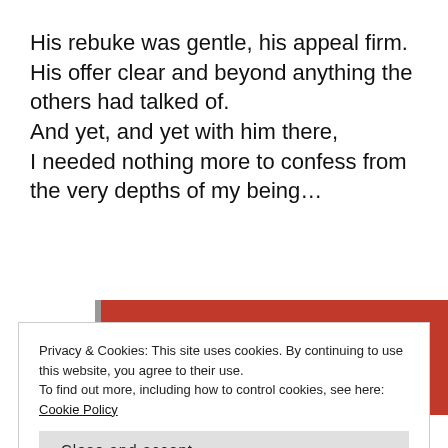His rebuke was gentle, his appeal firm. His offer clear and beyond anything the others had talked of. And yet, and yet with him there, I needed nothing more to confess from the very depths of my being…
[Figure (screenshot): Red banner with white italic text 'everyone else's.' and a dark 'Start reading' button]
Privacy & Cookies: This site uses cookies. By continuing to use this website, you agree to their use.
To find out more, including how to control cookies, see here: Cookie Policy
Close and accept